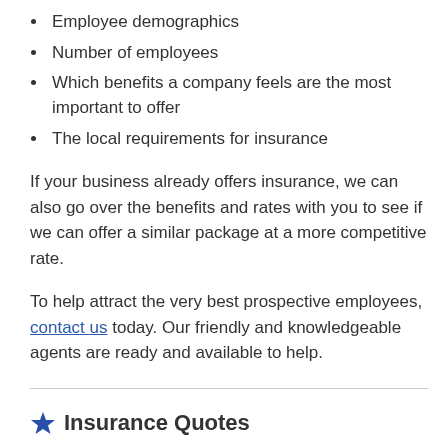Employee demographics
Number of employees
Which benefits a company feels are the most important to offer
The local requirements for insurance
If your business already offers insurance, we can also go over the benefits and rates with you to see if we can offer a similar package at a more competitive rate.
To help attract the very best prospective employees, contact us today. Our friendly and knowledgeable agents are ready and available to help.
Insurance Quotes